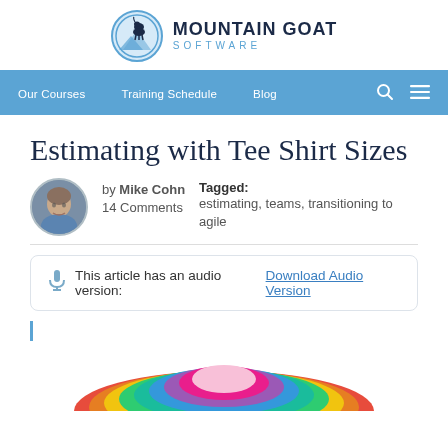[Figure (logo): Mountain Goat Software logo with goat in circular blue-and-white emblem and bold text]
Our Courses  Training Schedule  Blog
Estimating with Tee Shirt Sizes
by Mike Cohn
14 Comments
Tagged: estimating, teams, transitioning to agile
This article has an audio version:  Download Audio Version
[Figure (photo): Stack of colorful tee shirts piled in a rainbow arc]